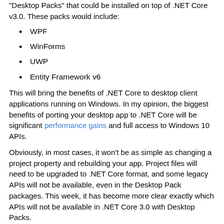"Desktop Packs" that could be installed on top of .NET Core v3.0. These packs would include:
WPF
WinForms
UWP
Entity Framework v6
This will bring the benefits of .NET Core to desktop client applications running on Windows. In my opinion, the biggest benefits of porting your desktop app to .NET Core will be significant performance gains and full access to Windows 10 APIs.
Obviously, in most cases, it won't be as simple as changing a project property and rebuilding your app. Project files will need to be upgraded to .NET Core format, and some legacy APIs will not be available, even in the Desktop Pack packages. This week, it has become more clear exactly which APIs will not be available in .NET Core 3.0 with Desktop Packs.